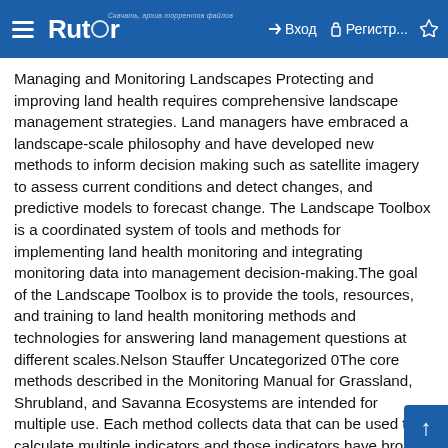Rutor — Вход — Регистр...
Managing and Monitoring Landscapes Protecting and improving land health requires comprehensive landscape management strategies. Land managers have embraced a landscape-scale philosophy and have developed new methods to inform decision making such as satellite imagery to assess current conditions and detect changes, and predictive models to forecast change. The Landscape Toolbox is a coordinated system of tools and methods for implementing land health monitoring and integrating monitoring data into management decision-making.The goal of the Landscape Toolbox is to provide the tools, resources, and training to land health monitoring methods and technologies for answering land management questions at different scales.Nelson Stauffer Uncategorized 0The core methods described in the Monitoring Manual for Grassland, Shrubland, and Savanna Ecosystems are intended for multiple use. Each method collects data that can be used to calculate multiple indicators and those indicators have broad applicability. Two of the vegetative methods, canopy gap and vegetation height, have direct application…Continue readingNelson Stauffer